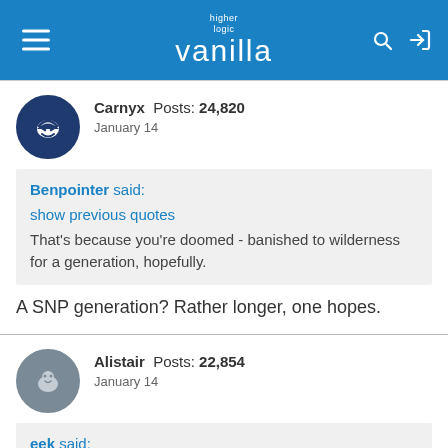higher logic vanilla
Carnyx  Posts: 24,820
January 14
Benpointer said:
show previous quotes
That's because you're doomed - banished to wilderness for a generation, hopefully.
A SNP generation? Rather longer, one hopes.
Alistair  Posts: 22,854
January 14
eek said: